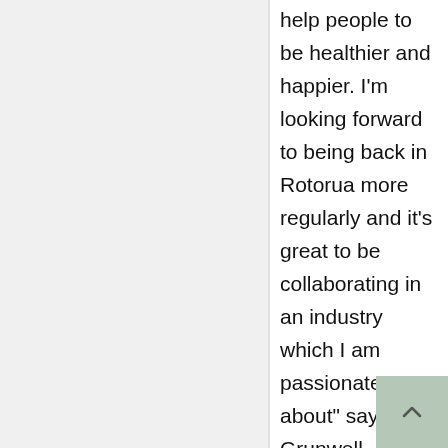help people to be healthier and happier. I'm looking forward to being back in Rotorua more regularly and it's great to be collaborating in an industry which I am passionate about" says Grunwell.

Ironically one of the two exclusive alkaline and acidic springs that feeds into the 28 pools that Polynesian Spa